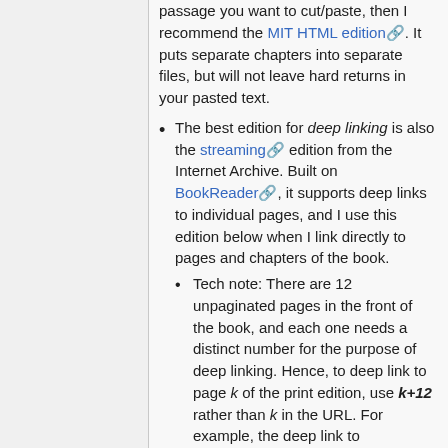passage you want to cut/paste, then I recommend the MIT HTML edition. It puts separate chapters into separate files, but will not leave hard returns in your pasted text.
The best edition for deep linking is also the streaming edition from the Internet Archive. Built on BookReader, it supports deep links to individual pages, and I use this edition below when I link directly to pages and chapters of the book.
Tech note: There are 12 unpaginated pages in the front of the book, and each one needs a distinct number for the purpose of deep linking. Hence, to deep link to page k of the print edition, use k+12 rather than k in the URL. For example, the deep link to